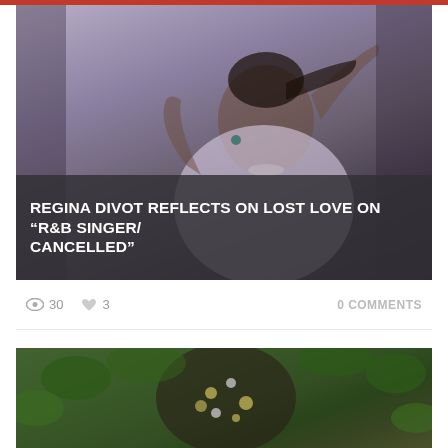[Figure (photo): Young Black woman in a white turtleneck top making a framing gesture with her hands, posing against a grey background. Photo is used as a card thumbnail.]
REGINA DIVOT REFLECTS ON LOST LOVE ON “R&B SINGER/CANCELLED”
30  3  0 COMMENTS
[Figure (photo): Person wearing a dark floral-patterned outfit, photographed outdoors against green foliage background. Partial view, bottom of page.]